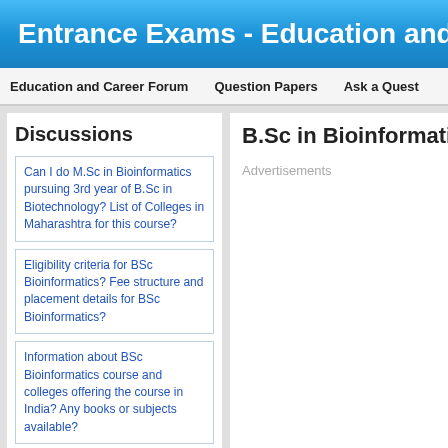Entrance Exams - Education and Care
Education and Career Forum   Question Papers   Ask a Quest
Discussions
Can I do M.Sc in Bioinformatics pursuing 3rd year of B.Sc in Biotechnology? List of Colleges in Maharashtra for this course?
Eligibility criteria for BSc Bioinformatics? Fee structure and placement details for BSc Bioinformatics?
Information about BSc Bioinformatics course and colleges offering the course in India? Any books or subjects available?
Colleges offering course in Msc Bioinformatics?
Which are the government colleges for BSc Bioinformatics in HP?
B.Sc in Bioinformatics Col
Advertisements